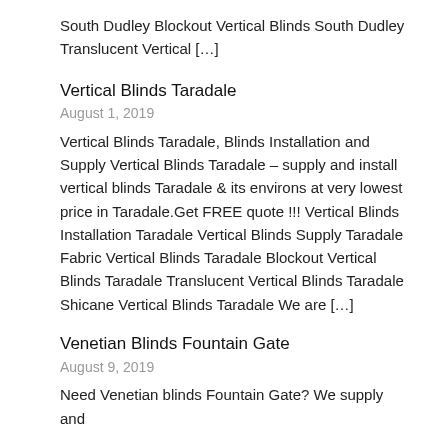South Dudley Blockout Vertical Blinds South Dudley Translucent Vertical […]
Vertical Blinds Taradale
August 1, 2019
Vertical Blinds Taradale, Blinds Installation and Supply Vertical Blinds Taradale – supply and install vertical blinds Taradale & its environs at very lowest price in Taradale.Get FREE quote !!! Vertical Blinds Installation Taradale Vertical Blinds Supply Taradale Fabric Vertical Blinds Taradale Blockout Vertical Blinds Taradale Translucent Vertical Blinds Taradale Shicane Vertical Blinds Taradale We are […]
Venetian Blinds Fountain Gate
August 9, 2019
Need Venetian blinds Fountain Gate? We supply and